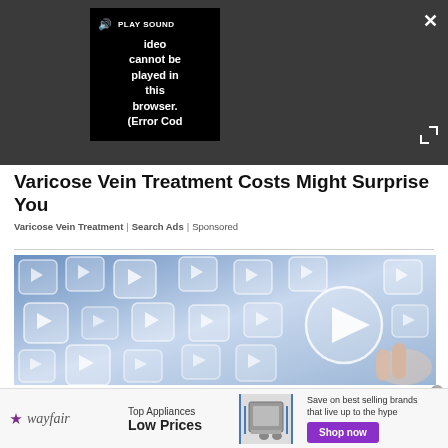[Figure (screenshot): Video player overlay on dark gray background showing a black video player box with PLAY SOUND button, error message 'Video cannot be played in this browser. (Error Cod' and a close X button and expand arrows icon]
Varicose Vein Treatment Costs Might Surprise You
Varicose Vein Treatment | Search Ads | Sponsored
[Figure (photo): Photo of a hand pointing at floating translucent video play button icons on a blue/white gradient background, representing digital media or video streaming concept]
[Figure (screenshot): Wayfair advertisement banner: Wayfair logo, 'Top Appliances Low Prices' text, appliance image, 'Save on best selling brands that live up to the hype' text, and a purple 'Shop now' button]